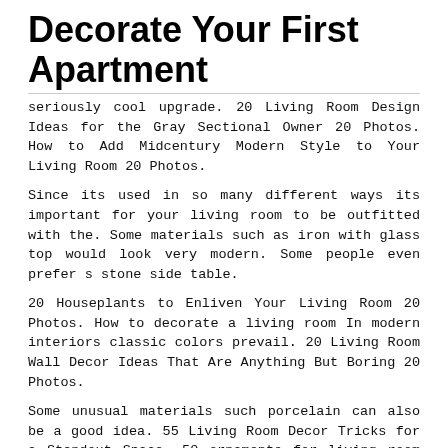Decorate Your First Apartment
seriously cool upgrade. 20 Living Room Design Ideas for the Gray Sectional Owner 20 Photos. How to Add Midcentury Modern Style to Your Living Room 20 Photos.
Since its used in so many different ways its important for your living room to be outfitted with the. Some materials such as iron with glass top would look very modern. Some people even prefer s stone side table.
20 Houseplants to Enliven Your Living Room 20 Photos. How to decorate a living room In modern interiors classic colors prevail. 20 Living Room Wall Decor Ideas That Are Anything But Boring 20 Photos.
Some unusual materials such porcelain can also be a good idea. 55 Living Room Decor Tricks for a Standout Space. 50 ornaments for living room decoration 1 Wooden shelf decorated with frame and other small ornaments 2 Wooden niches are great [CLOSE] nts for the living room.